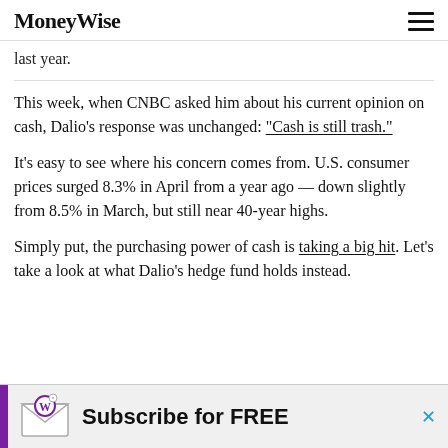MoneyWise
last year.
This week, when CNBC asked him about his current opinion on cash, Dalio’s response was unchanged: “Cash is still trash.”
It’s easy to see where his concern comes from. U.S. consumer prices surged 8.3% in April from a year ago — down slightly from 8.5% in March, but still near 40-year highs.
Simply put, the purchasing power of cash is taking a big hit. Let’s take a look at what Dalio’s hedge fund holds instead.
[Figure (infographic): Advertisement banner: Subscribe for FREE with MoneyWise envelope icon and purple bar]